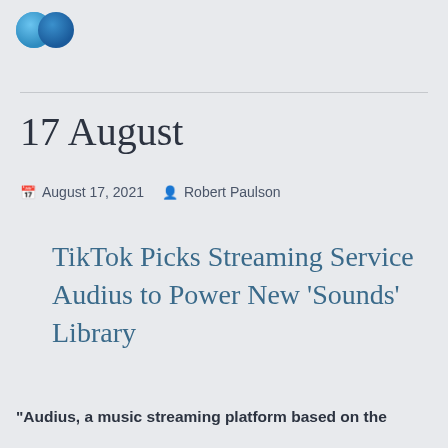[Figure (logo): Two overlapping blue circles logo]
17 August
August 17, 2021   Robert Paulson
TikTok Picks Streaming Service Audius to Power New ‘Sounds’ Library
“Audius, a music streaming platform based on the